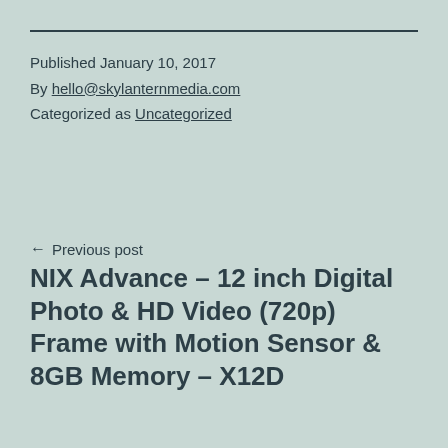Published January 10, 2017
By hello@skylanternmedia.com
Categorized as Uncategorized
← Previous post
NIX Advance – 12 inch Digital Photo & HD Video (720p) Frame with Motion Sensor & 8GB Memory – X12D